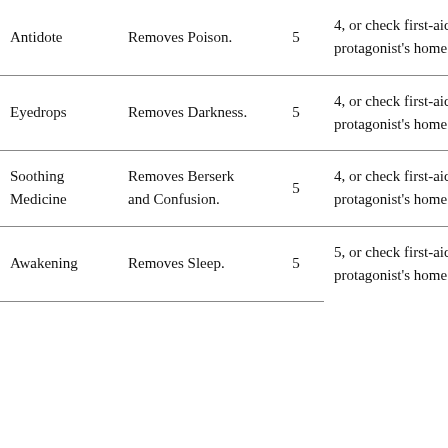| Antidote | Removes Poison. | 5 | 4, or check first-aid kit in protagonist's home |
| Eyedrops | Removes Darkness. | 5 | 4, or check first-aid kit in protagonist's home |
| Soothing Medicine | Removes Berserk and Confusion. | 5 | 4, or check first-aid kit in protagonist's home |
| Awakening | Removes Sleep. | 5 | 5, or check first-aid kit in protagonist's home |